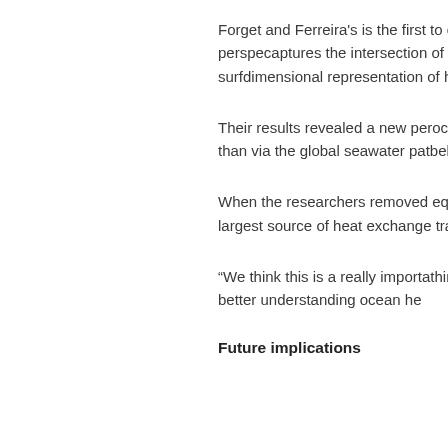Forget and Ferreira's is the first to combine atmospheric and oceanic perspectives in a way that captures the intersection of the atmosphere and what's happening below the surface — a three-dimensional representation of how the atmosphere, surface, and ocean columns.
Their results revealed a new perspective: most ocean heat redistribution takes place locally rather than via the global seawater pathway called the conveyor belt.
When the researchers removed the ocean from the equation, they found that heat redistribution — the largest source of heat exchange — is dominated by transfer of heat from the equator to the poles.
“We think this is a really important finding that changes things and, hopefully, puts us, as a field, on the path of better understanding ocean heat.
Future implications